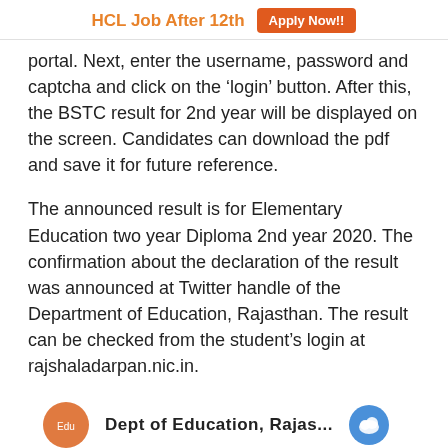HCL Job After 12th  Apply Now!!
portal. Next, enter the username, password and captcha and click on the ‘login’ button. After this, the BSTC result for 2nd year will be displayed on the screen. Candidates can download the pdf and save it for future reference.
The announced result is for Elementary Education two year Diploma 2nd year 2020. The confirmation about the declaration of the result was announced at Twitter handle of the Department of Education, Rajasthan. The result can be checked from the student’s login at rajshaladarpan.nic.in.
[Figure (screenshot): Partial view of a social media (Twitter) post snippet showing logos/icons of Department of Education Rajasthan and a cloud/Twitter icon, with partial bold text visible at the bottom edge of the page.]